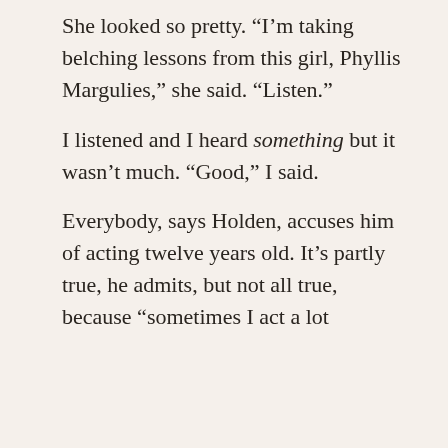She looked so pretty. “I’m taking belching lessons from this girl, Phyllis Margulies,” she said. “Listen.”
I listened and I heard something but it wasn’t much. “Good,” I said.
Everybody, says Holden, accuses him of acting twelve years old. It’s partly true, he admits, but not all true, because “sometimes I act a lot